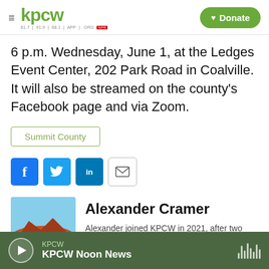kpcw — Donate
6 p.m. Wednesday, June 1, at the Ledges Event Center, 202 Park Road in Coalville. It will also be streamed on the county's Facebook page and via Zoom.
Summit County
[Figure (other): Social media sharing icons: Facebook, Twitter, LinkedIn, Email]
[Figure (photo): Headshot photo of Alexander Cramer outdoors with red rock landscape in background]
Alexander Cramer
Alexander joined KPCW in 2021, after two
KPCW — KPCW Noon News